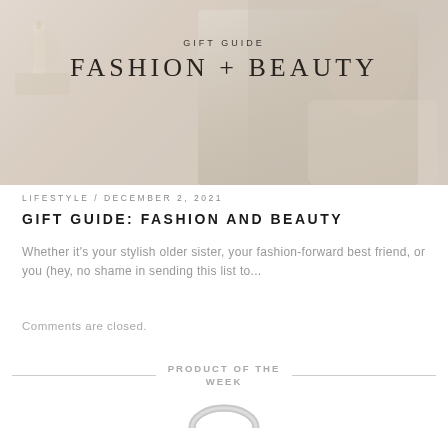[Figure (photo): Hero banner image showing a woman in a floral dress reading/holding a card, with soft warm tones. Text overlay reads 'GIFT GUIDE' and 'FASHION + BEAUTY'.]
LIFESTYLE / DECEMBER 2, 2021
GIFT GUIDE: FASHION AND BEAUTY
Whether it’s your stylish older sister, your fashion-forward best friend, or you (hey, no shame in sending this list to...
Comments are closed.
PRODUCT OF THE WEEK
[Figure (photo): Partial image of a silver ring or jewelry item at the bottom of the page.]